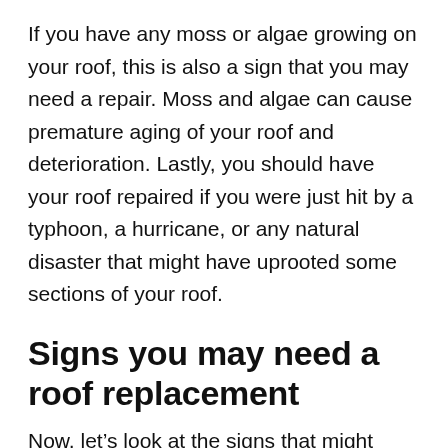If you have any moss or algae growing on your roof, this is also a sign that you may need a repair. Moss and algae can cause premature aging of your roof and deterioration. Lastly, you should have your roof repaired if you were just hit by a typhoon, a hurricane, or any natural disaster that might have uprooted some sections of your roof.
Signs you may need a roof replacement
Now, let’s look at the signs that might indicate you need a roof replacement instead of just a repair. One of the most telltale signs is if...